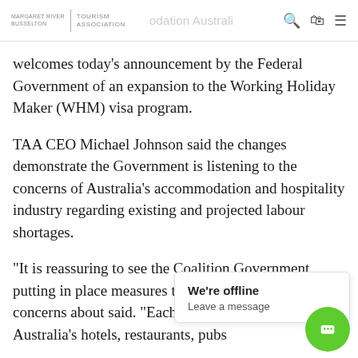Margaret River Busselton Tourism Association | [nav: Accommodation Australia...] [search icon] [bag icon] [menu icon]
welcomes today's announcement by the Federal Government of an expansion to the Working Holiday Maker (WHM) visa program.
TAA CEO Michael Johnson said the changes demonstrate the Government is listening to the concerns of Australia's accommodation and hospitality industry regarding existing and projected labour shortages.
“It is reassuring to see the Coalition Government putting in place measures to help address industry concerns about [obscured by popup] said. “Each yea[r]... a crucial role in Australia's hotels, restaurants, pubs